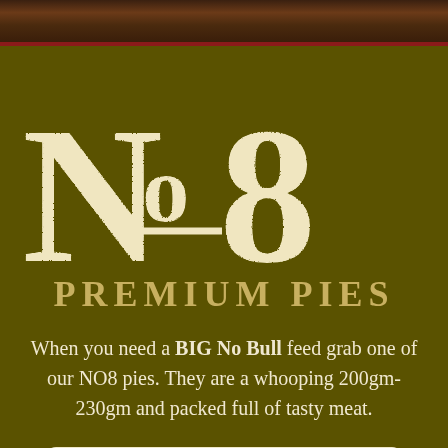[Figure (illustration): Wood grain texture strip at top of page with dark reddish-brown horizontal stripes]
No8
PREMIUM PIES
When you need a BIG No Bull feed grab one of our NO8 pies. They are a whooping 200gm-230gm and packed full of tasty meat.
No.8 Premium Pies & Rolls